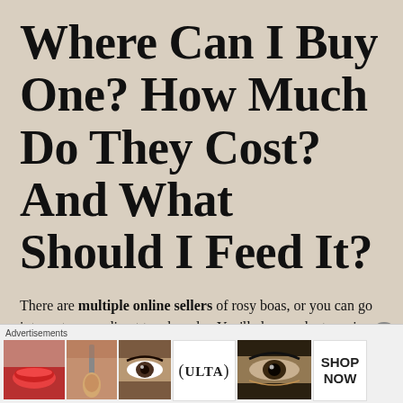Where Can I Buy One? How Much Do They Cost? And What Should I Feed It?
There are multiple online sellers of rosy boas, or you can go into a store, or direct to a breeder. You'll also need a terrarium—10 or 15 gallons (35-55L) should suffice.
[Figure (photo): Advertisement banner with Ulta Beauty ad showing close-up beauty/makeup images including lips, a makeup brush, an eye, the Ulta logo, another eye, and a SHOP NOW button.]